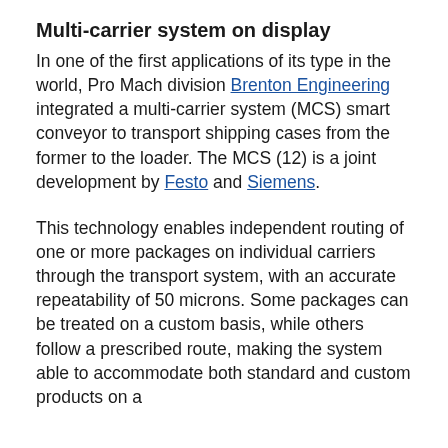Multi-carrier system on display
In one of the first applications of its type in the world, Pro Mach division Brenton Engineering integrated a multi-carrier system (MCS) smart conveyor to transport shipping cases from the former to the loader. The MCS (12) is a joint development by Festo and Siemens.
This technology enables independent routing of one or more packages on individual carriers through the transport system, with an accurate repeatability of 50 microns. Some packages can be treated on a custom basis, while others follow a prescribed route, making the system able to accommodate both standard and custom products on a